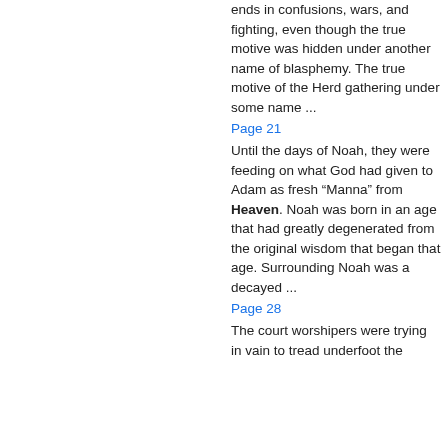ends in confusions, wars, and fighting, even though the true motive was hidden under another name of blasphemy. The true motive of the Herd gathering under some name ...
Page 21
Until the days of Noah, they were feeding on what God had given to Adam as fresh “Manna” from Heaven. Noah was born in an age that had greatly degenerated from the original wisdom that began that age. Surrounding Noah was a decayed ...
Page 28
The court worshipers were trying in vain to tread underfoot the